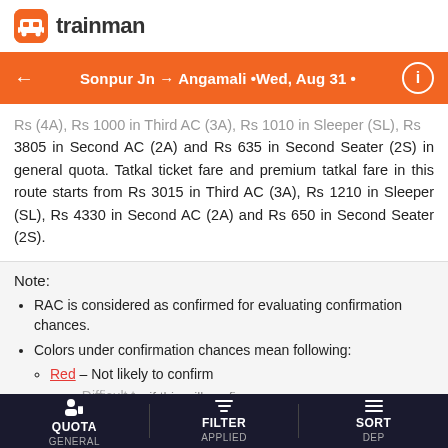[Figure (logo): Trainman app logo with orange icon and 'trainman' text]
Sonpur Jn → Angamali • Wed, Aug 31 •
Rs 3805 in Second AC (2A) and Rs 635 in Second Seater (2S) in general quota. Tatkal ticket fare and premium tatkal fare in this route starts from Rs 3015 in Third AC (3A), Rs 1210 in Sleeper (SL), Rs 4330 in Second AC (2A) and Rs 650 in Second Seater (2S).
Note:
RAC is considered as confirmed for evaluating confirmation chances.
Colors under confirmation chances mean following:
Red – Not likely to confirm
QUOTA GENERAL | FILTER APPLIED | SORT DEP